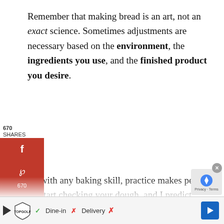Remember that making bread is an art, not an exact science. Sometimes adjustments are necessary based on the environment, the ingredients you use, and the finished product you desire.
[Figure (other): Social share widget with Facebook, Pinterest, and Email buttons showing 670 shares count]
As with any baking skill, practice makes perfect. So start checking your dough, and I predict you'll be a master bread baker before you know it.
If you are new to the bread machine world and want to increase your chances of success, sta[rt]
[Figure (other): Advertisement bar at bottom showing TopGolf logo, Dine-in and Delivery options with checkmark and X, and a navigation arrow]